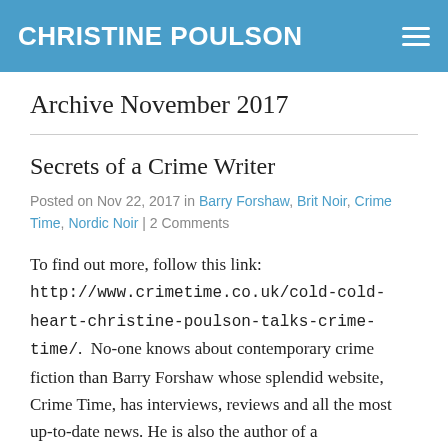CHRISTINE POULSON
Archive November 2017
Secrets of a Crime Writer
Posted on Nov 22, 2017 in Barry Forshaw, Brit Noir, Crime Time, Nordic Noir | 2 Comments
To find out more, follow this link: http://www.crimetime.co.uk/cold-cold-heart-christine-poulson-talks-crime-time/.  No-one knows about contemporary crime fiction than Barry Forshaw whose splendid website, Crime Time, has interviews, reviews and all the most up-to-date news. He is also the author of a